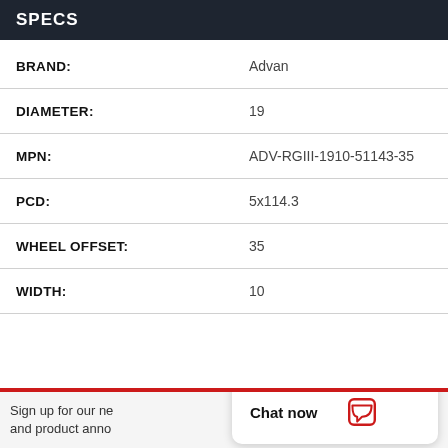SPECS
| Field | Value |
| --- | --- |
| BRAND: | Advan |
| DIAMETER: | 19 |
| MPN: | ADV-RGIII-1910-51143-35 |
| PCD: | 5x114.3 |
| WHEEL OFFSET: | 35 |
| WIDTH: | 10 |
Sign up for our ne and product anno
Chat now